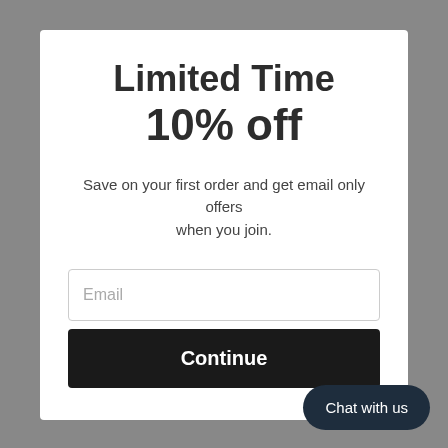Limited Time
10% off
Save on your first order and get email only offers when you join.
Email
Continue
Chat with us